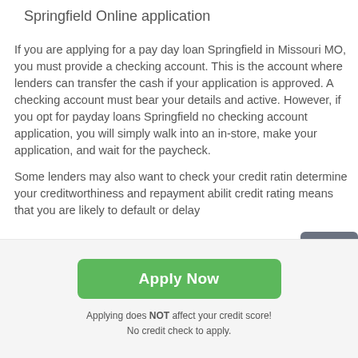Springfield Online application
If you are applying for a pay day loan Springfield in Missouri MO, you must provide a checking account. This is the account where lenders can transfer the cash if your application is approved. A checking account must bear your details and active. However, if you opt for payday loans Springfield no checking account application, you will simply walk into an in-store, make your application, and wait for the paycheck.
Some lenders may also want to check your credit rating to determine your creditworthiness and repayment ability. A low credit rating means that you are likely to default or delay repayment.
[Figure (other): Scroll-to-top button: dark grey rounded square with white upward arrow]
Apply Now
Applying does NOT affect your credit score!
No credit check to apply.